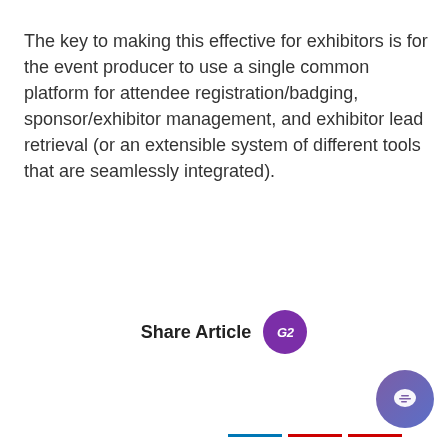The key to making this effective for exhibitors is for the event producer to use a single common platform for attendee registration/badging, sponsor/exhibitor management, and exhibitor lead retrieval (or an extensible system of different tools that are seamlessly integrated).
Share Article
[Figure (screenshot): Social sharing icons: Facebook (blue square with f), Twitter (light blue square with bird icon), LinkedIn (blue square partially visible), followed by a chat popup overlay showing G2 logo circle, close X, and message 'Hi! Thanks for reaching out to us. How can we help you?' and a purple chat bubble button at bottom right.]